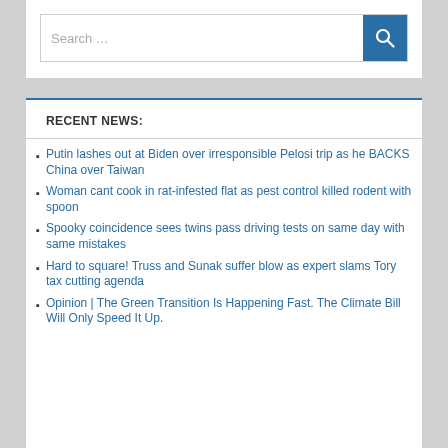Search …
RECENT NEWS:
Putin lashes out at Biden over irresponsible Pelosi trip as he BACKS China over Taiwan
Woman cant cook in rat-infested flat as pest control killed rodent with spoon
Spooky coincidence sees twins pass driving tests on same day with same mistakes
Hard to square! Truss and Sunak suffer blow as expert slams Tory tax cutting agenda
Opinion | The Green Transition Is Happening Fast. The Climate Bill Will Only Speed It Up.